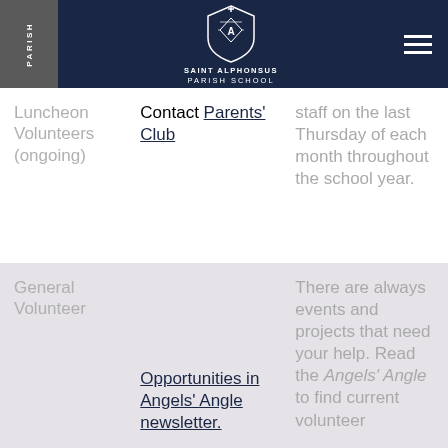PARISH | SAINT ALPHONSUS PARISH SCHOOL
|  | Contact |  |
| --- | --- | --- |
| Luncheon Volunteers (ongoing) | Contact Parents' Club | staff on the last Thursday of each month throughout the school year. |
| General Volunteer | Opportunities in Angels' Angle newsletter. | There are always events and projects that need your help. Read the Angels' Angle to find current volunteer |